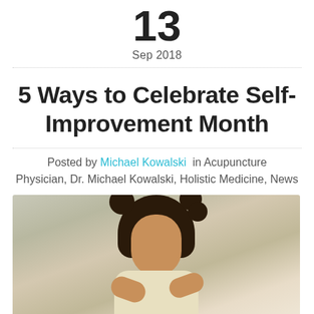13
Sep 2018
5 Ways to Celebrate Self-Improvement Month
Posted by Michael Kowalski in Acupuncture Physician, Dr. Michael Kowalski, Holistic Medicine, News
[Figure (photo): A woman with curly hair smiling with eyes closed, resting her chin on her hands, against a neutral background.]